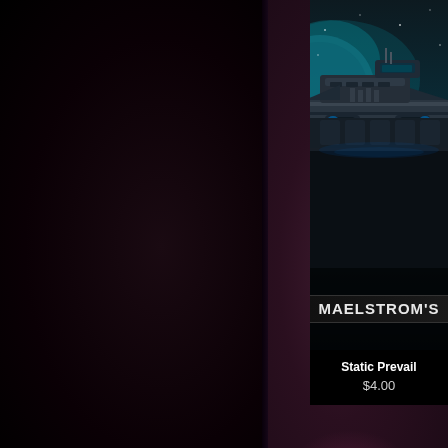[Figure (screenshot): A game store listing card partially visible in the upper-right corner. Shows a sci-fi game titled 'MAELSTROM'S [something cut off]' with a spaceship image, priced at $4.00, with the label 'Static Prevail' visible. The rest of the page is a dark background split between near-black on the left and dark maroon/purple on the right.]
Static Prevail
$4.00